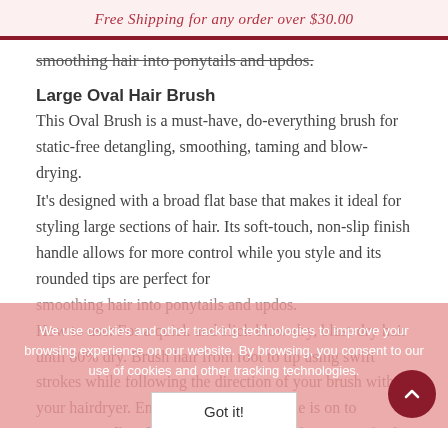Free Shipping for any order over $30.00
smoothing hair into ponytails and updos.
Large Oval Hair Brush
This Oval Brush is a must-have, do-everything brush for static-free detangling, smoothing, taming and blow-drying.
It's designed with a broad flat base that makes it ideal for styling large sections of hair. Its soft-touch, non-slip finish handle allows for more control while you style and its rounded tips are perfect for smoothing hair into ponytails and updos.
How to use: For a quick and slick blow-dry, blast-dry hair until 80% dry. Brush hair from root to tip using swift strokes while following the direction of your brush with your hairdryer. Ensure your dryer's nozzle is on to concentrate [heat]. For a straight fringe that sits perfectly, alternate between brushing to
We use cookies and other tracking technologies to improve your browsing experience on our website. By browsing, you consent to our use of cookies and other tracking technologies.
Got it!